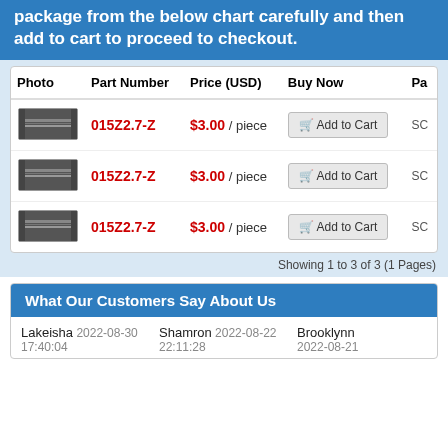package from the below chart carefully and then add to cart to proceed to checkout.
| Photo | Part Number | Price (USD) | Buy Now | Pa |
| --- | --- | --- | --- | --- |
| [image] | 015Z2.7-Z | $3.00 / piece | Add to Cart | SC |
| [image] | 015Z2.7-Z | $3.00 / piece | Add to Cart | SC |
| [image] | 015Z2.7-Z | $3.00 / piece | Add to Cart | SC |
Showing 1 to 3 of 3 (1 Pages)
What Our Customers Say About Us
Lakeisha  2022-08-30 17:40:04    Shamron  2022-08-22 22:11:28    Brooklynn  2022-08-21